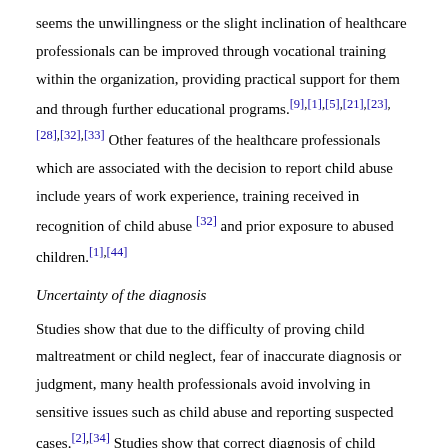seems the unwillingness or the slight inclination of healthcare professionals can be improved through vocational training within the organization, providing practical support for them and through further educational programs.[9],[1],[5],[21],[23],[28],[32],[33] Other features of the healthcare professionals which are associated with the decision to report child abuse include years of work experience, training received in recognition of child abuse [32] and prior exposure to abused children.[1],[44]
Uncertainty of the diagnosis
Studies show that due to the difficulty of proving child maltreatment or child neglect, fear of inaccurate diagnosis or judgment, many health professionals avoid involving in sensitive issues such as child abuse and reporting suspected cases.[2],[34] Studies show that correct diagnosis of child abuse cases can be challenging because the distinction between cases of child abuse and physical damage caused by an accident can be extremely difficult for healthcare professionals, especially in cases where they are unable to identify signs and symptoms of child abuse.[4],[9],[10],[20],[30],[35] Before healthcare professionals